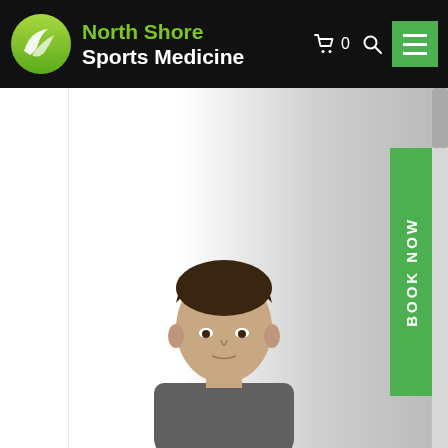North Shore Sports Medicine
[Figure (screenshot): North Shore Sports Medicine website screenshot showing navigation header with logo, cart icon, search icon, hamburger menu, a doctor photo in the main content area, and a green BOOK NOW sidebar button]